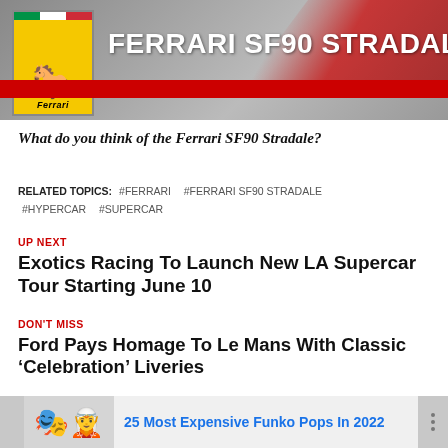[Figure (illustration): Ferrari SF90 Stradale banner with Ferrari logo (yellow shield with prancing horse, Italian flag stripe at top), red car in background, and large white bold text 'FERRARI SF90 STRADALE' on gray background with red stripe]
What do you think of the Ferrari SF90 Stradale?
RELATED TOPICS: #FERRARI #FERRARI SF90 STRADALE #HYPERCAR #SUPERCAR
UP NEXT
Exotics Racing To Launch New LA Supercar Tour Starting June 10
DON'T MISS
Ford Pays Homage To Le Mans With Classic ‘Celebration’ Liveries
[Figure (illustration): Advertisement banner showing two Funko Pop figurines and text '25 Most Expensive Funko Pops In 2022' in blue, on a gray background with darker gray side strips and three dots on the right]